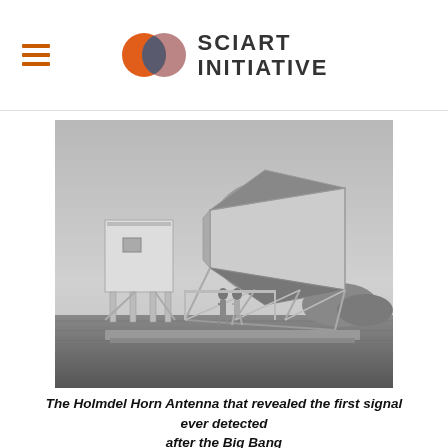SciArt Initiative
[Figure (photo): Black and white photograph of the Holmdel Horn Antenna, a large horn-shaped radio antenna mounted on a rotating base structure with a wheel, two people standing on the platform below it, set in an open field.]
The Holmdel Horn Antenna that revealed the first signal ever detected after the Big Bang